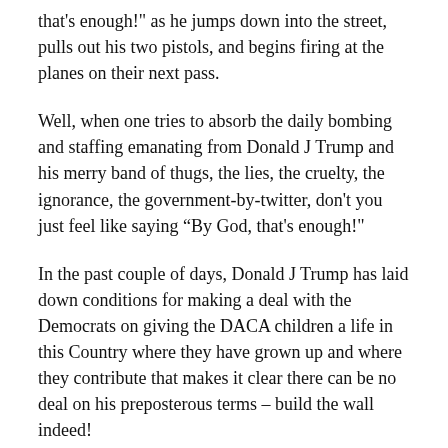that's enough!" as he jumps down into the street, pulls out his two pistols, and begins firing at the planes on their next pass.
Well, when one tries to absorb the daily bombing and staffing emanating from Donald J Trump and his merry band of thugs, the lies, the cruelty, the ignorance, the government-by-twitter, don't you just feel like saying “By God, that's enough!"
In the past couple of days, Donald J Trump has laid down conditions for making a deal with the Democrats on giving the DACA children a life in this Country where they have grown up and where they contribute that makes it clear there can be no deal on his preposterous terms – build the wall indeed!
Then, to say that Senator Bob Corker, Chairman of the Foreign Relations Committee, didn't have the guts to run